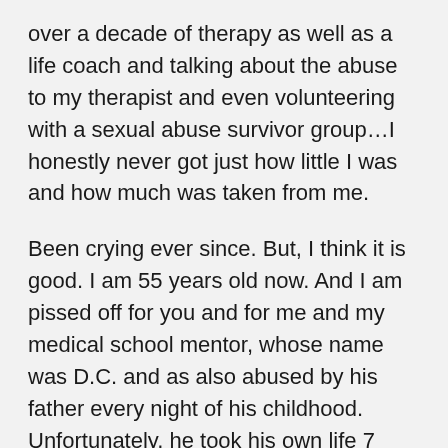over a decade of therapy as well as a life coach and talking about the abuse to my therapist and even volunteering with a sexual abuse survivor group…I honestly never got just how little I was and how much was taken from me.
Been crying ever since. But, I think it is good. I am 55 years old now. And I am pissed off for you and for me and my medical school mentor, whose name was D.C. and as also abused by his father every night of his childhood. Unfortunately, he took his own life 7 years ago. I stopped talking about my abuse because I was worried that people would see me as damaged, broken. But, it is so much a part of who I am that